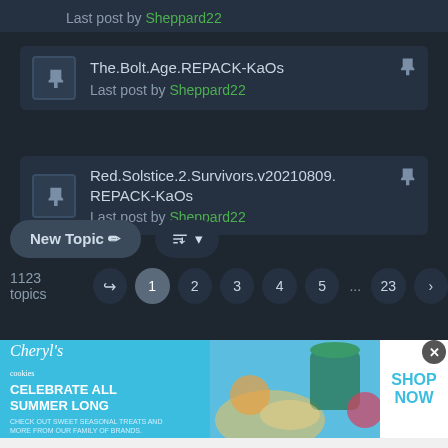Last post by Sheppard22
The.Bolt.Age.REPACK-KaOs
Last post by Sheppard22
Red.Solstice.2.Survivors.v20210809.REPACK-KaOs
Last post by Sheppard22
New Topic  [sort icon]
1123 topics  1 2 3 4 5 ... 23 >
[Figure (screenshot): Cheryl's Cookies advertisement banner: CELEBRATE ALL SUMMER LONG - Check out sweet seasonal treats and more from our family of brands. SHOP NOW with summer food/drink imagery.]